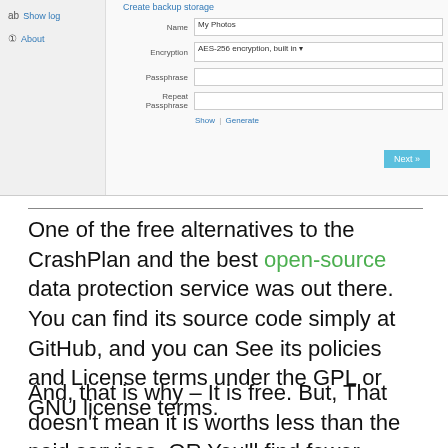[Figure (screenshot): CrashPlan backup settings form screenshot with sidebar showing 'Show log' and 'About' links, and a form panel with Name field (My Photos), Encryption dropdown (AES-256 encryption, built in), Passphrase field, Repeat Passphrase field, Show | Generate links, and a Next button]
One of the free alternatives to the CrashPlan and the best open-source data protection service was out there. You can find its source code simply at GitHub, and you can See its policies and License terms under the GPL or GNU license terms.
And, that is why – It is free. But, That doesn't mean it is worths less than the paid services. OR You'll find fewer features in this one. But, This provides